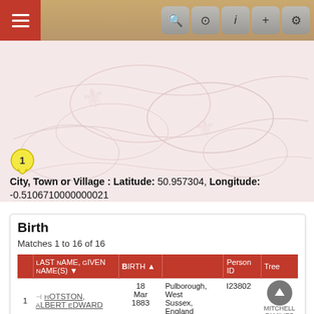[Figure (screenshot): App toolbar with hamburger menu on left (red background) and search/camera/info/plus/settings icons on right (gray buttons) on tan/gold background]
[Figure (map): Map area showing a light pink/cream decorative map background with a yellow map pin marker labeled '1' in the lower left area]
City, Town or Village : Latitude: 50.957304, Longitude: -0.5106710000000021
Birth
Matches 1 to 16 of 16
|  | Last Name, Given Name(s) | Birth | Person ID | Tree |
| --- | --- | --- | --- | --- |
| 1 | Hotston, Albert Edward | 18 Mar 1883 | Pulborough, West Sussex, England | I23802 | Mitchell Families |